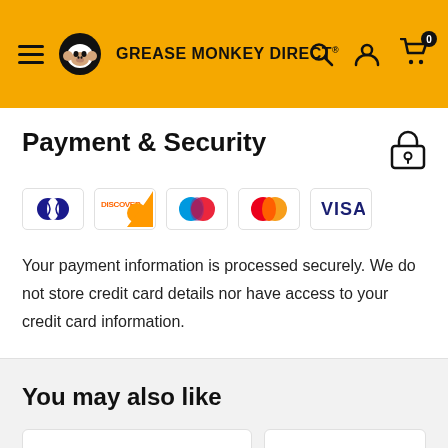Grease Monkey Direct
Payment & Security
[Figure (logo): Payment method icons: Diners Club, Discover, Maestro, Mastercard, Visa]
Your payment information is processed securely. We do not store credit card details nor have access to your credit card information.
You may also like